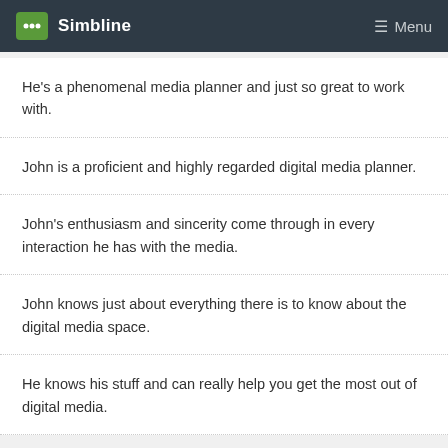Simbline   Menu
He's a phenomenal media planner and just so great to work with.
John is a proficient and highly regarded digital media planner.
John's enthusiasm and sincerity come through in every interaction he has with the media.
John knows just about everything there is to know about the digital media space.
He knows his stuff and can really help you get the most out of digital media.